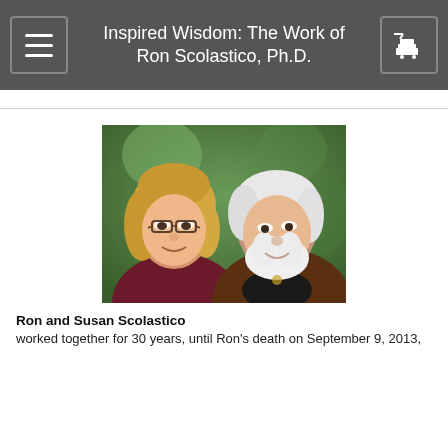Inspired Wisdom: The Work of Ron Scolastico, Ph.D.
[Figure (photo): A couple — a woman with blonde wavy hair and glasses on the left, and an older man with white hair and a white beard wearing a brown leather jacket on the right — looking at each other and smiling.]
Ron and Susan Scolastico worked together for 30 years, until Ron's death on September 9, 2013,